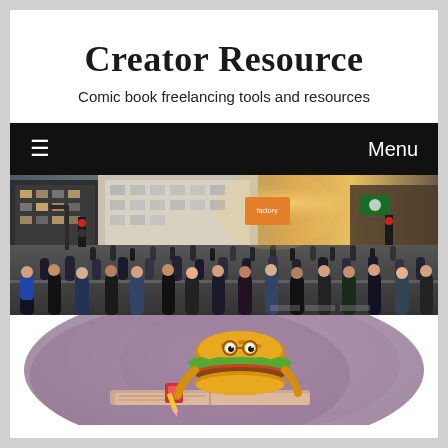Creator Resource
Comic book freelancing tools and resources
≡   Menu
[Figure (photo): Wide-angle street photo of a busy urban intersection filled with crowds of pedestrians, city buildings, traffic lights, and a warm golden sunlight in the background. Starbucks sign visible on right.]
[Figure (illustration): Colorful cartoon illustration of a hamburger character lying on a book or surface, reading, set against a muted purple watercolor background. Partial view — cropped at bottom of page.]